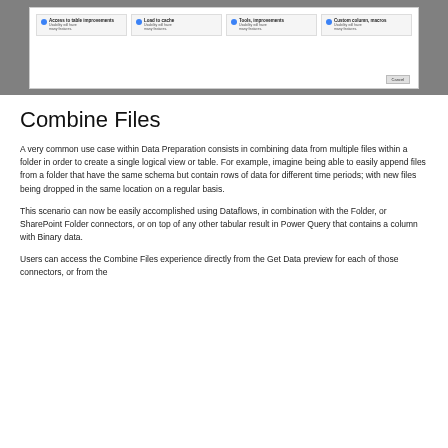[Figure (screenshot): A software UI screenshot showing a dialog with four cards: 'Access to table improvements', 'Load to cache', 'Tools, improvements', 'Custom column, macros'. A Cancel button is visible at the bottom right.]
Combine Files
A very common use case within Data Preparation consists in combining data from multiple files within a folder in order to create a single logical view or table. For example, imagine being able to easily append files from a folder that have the same schema but contain rows of data for different time periods; with new files being dropped in the same location on a regular basis.
This scenario can now be easily accomplished using Dataflows, in combination with the Folder, or SharePoint Folder connectors, or on top of any other tabular result in Power Query that contains a column with Binary data.
Users can access the Combine Files experience directly from the Get Data preview for each of those connectors, or from the